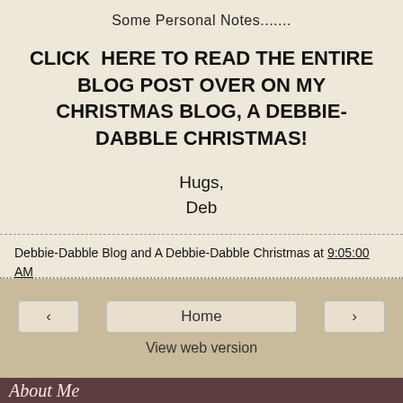Some Personal Notes.......
CLICK  HERE TO READ THE ENTIRE BLOG POST OVER ON MY CHRISTMAS BLOG, A DEBBIE-DABBLE CHRISTMAS!
Hugs,
Deb
Debbie-Dabble Blog and A Debbie-Dabble Christmas at 9:05:00 AM
Share
Home
View web version
About Me